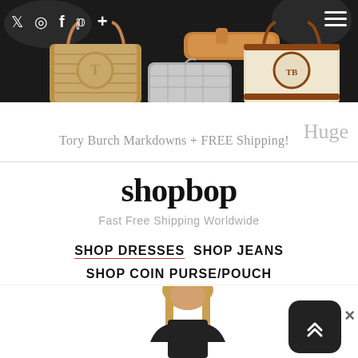[Figure (screenshot): Dark top navigation banner with social media icons (Twitter, Instagram, Facebook, Pinterest, plus) on the left and hamburger menu on the right, overlaid on a dark background showing handbags]
[Figure (photo): Fashion e-commerce banner showing Tory Burch handbags: woven straw tote with logo, silver quilted clutch, canvas tote with leather trim, and tan slide sandals on dark background]
Huge
Tory Burch Markdowns + FREE Shipping!
shopbop
Fast Free Shipping Worldwide
SHOP DRESSES  SHOP JEANS  SHOP COIN PURSE/POUCH
[Figure (photo): Model with blonde hair wearing a dark top, partially visible at bottom of page]
[Figure (screenshot): Scroll-to-top button (black rounded square with double chevron up arrow) and close X button in bottom right corner]